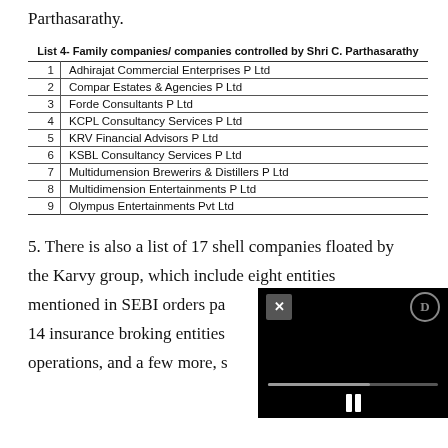Parthasarathy.
|  | List 4- Family companies/ companies controlled by Shri C. Parthasarathy |
| --- | --- |
| 1 | Adhirajat Commercial Enterprises P Ltd |
| 2 | Compar Estates & Agencies P Ltd |
| 3 | Forde Consultants P Ltd |
| 4 | KCPL Consultancy Services P Ltd |
| 5 | KRV Financial Advisors P Ltd |
| 6 | KSBL Consultancy Services P Ltd |
| 7 | Multidumension Brewerirs & Distillers P Ltd |
| 8 | Multidimension Entertainments P Ltd |
| 9 | Olympus Entertainments Pvt Ltd |
5. There is also a list of 17 shell companies floated by the Karvy group, which include eight entities mentioned in SEBI orders pa... 14 insurance broking entities... operations, and a few more, s...